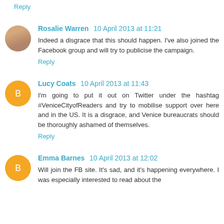Reply
Rosalie Warren 10 April 2013 at 11:21
Indeed a disgrace that this should happen. I've also joined the Facebook group and will try to publicise the campaign.
Reply
Lucy Coats 10 April 2013 at 11:43
I'm going to put it out on Twitter under the hashtag #VeniceCityofReaders and try to mobilise support over here and in the US. It is a disgrace, and Venice bureaucrats should be thoroughly ashamed of themselves.
Reply
Emma Barnes 10 April 2013 at 12:02
Will join the FB site. It's sad, and it's happening everywhere. I was especially interested to read about the